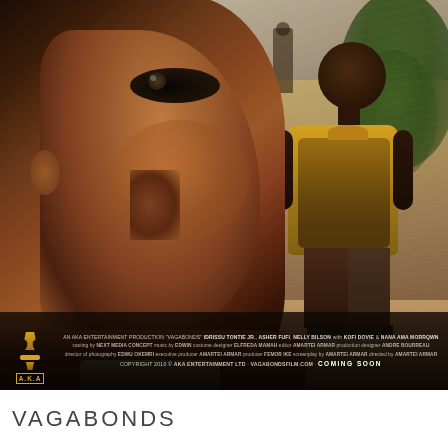[Figure (photo): Movie poster for 'Vagabonds' featuring a close-up profile of a young African boy's face in the foreground, with a boy in a yellow shirt standing in a dusty road in the background, and another figure further back. The scene has dramatic lighting with storm clouds on the left and a tree on the right. Production credits appear at the bottom of the poster.]
AN AKA ENTERTAINMENT PRODUCTION "VAGABONDS" IDRISSU TONTIE JR., ASHER FUFI, NELLY BILSON with KOFI DOVIE & NANA AMA MORRQWN casting by NEXT MEDIA CONCEPT music by EDWIN costume designer ELFREDA MAMAH editor AMARTEI ARMAR production designer ANDRE BOURREAU director of photography EDWU OKEMRI executive producer AMARTEI ARMAR producer FEMOR IKE screenplay by AMARTEI ARMAR directed by AMARTEI ARMAR COPYRIGHT 2010 © AKA ENTERTAINMENT LTD · VAGABONDSFILM.COM · COMING SOON
VAGABONDS